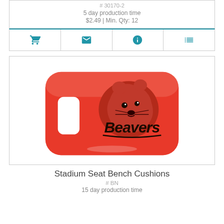# 30170-2
5 day production time
$2.49 | Min. Qty: 12
[Figure (other): Four icon buttons: shopping cart, envelope, info circle, list/menu]
[Figure (photo): Red stadium seat bench cushion with Beavers mascot logo printed on it]
Stadium Seat Bench Cushions
# BN
15 day production time